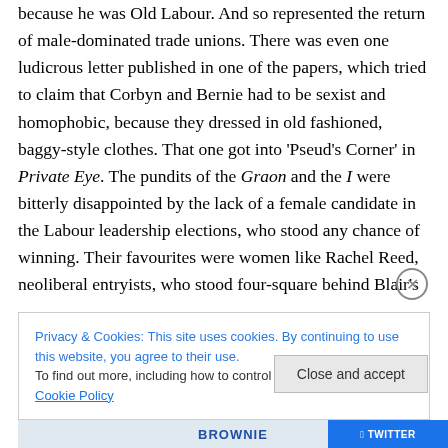because he was Old Labour. And so represented the return of male-dominated trade unions. There was even one ludicrous letter published in one of the papers, which tried to claim that Corbyn and Bernie had to be sexist and homophobic, because they dressed in old fashioned, baggy-style clothes. That one got into 'Pseud's Corner' in Private Eye. The pundits of the Graon and the I were bitterly disappointed by the lack of a female candidate in the Labour leadership elections, who stood any chance of winning. Their favourites were women like Rachel Reed, neoliberal entryists, who stood four-square behind Blair's
Privacy & Cookies: This site uses cookies. By continuing to use this website, you agree to their use.
To find out more, including how to control cookies, see here: Cookie Policy
Close and accept